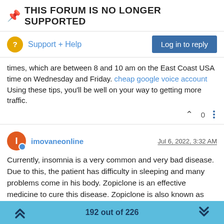📌 THIS FORUM IS NO LONGER SUPPORTED
Support + Help
times, which are between 8 and 10 am on the East Coast USA time on Wednesday and Friday. cheap google voice account Using these tips, you'll be well on your way to getting more traffic.
imovaneonline  Jul 6, 2022, 3:32 AM
Currently, insomnia is a very common and very bad disease. Due to this, the patient has difficulty in sleeping and many problems come in his body. Zopiclone is an effective medicine to cure this disease. Zopiclone is also known as imovane. You can also order imovane online. Taking this medicine gives relief in insomnia. There are some side effects of this medicine, so the doctor's advice should be taken only, because doctor's advice is necessary to take this medicine. This medicine comes in the market of imovane 7.5...
192 out of 226